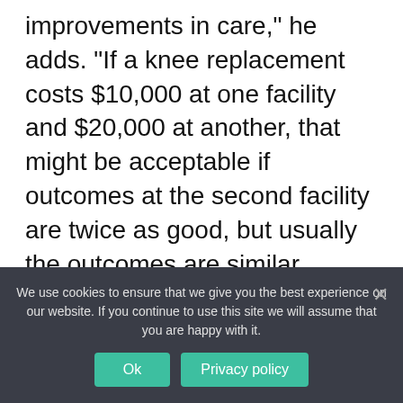improvements in care," he adds. "If a knee replacement costs $10,000 at one facility and $20,000 at another, that might be acceptable if outcomes at the second facility are twice as good, but usually the outcomes are similar.
“Bundling works to align the payment system with the outcomes; it’s almost the way the rest of the world works,” Sorsby adds. “Bundling is a first step along the route to a more fully integrated medical system.”
We use cookies to ensure that we give you the best experience on our website. If you continue to use this site we will assume that you are happy with it.